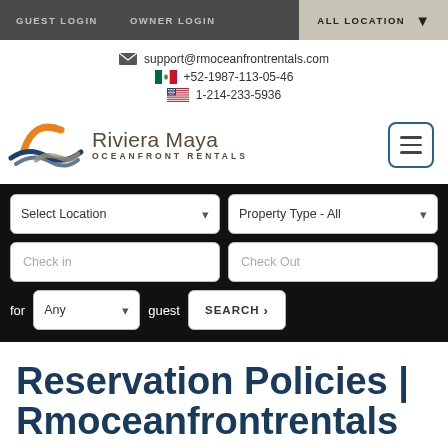GUEST LOGIN   OWNER LOGIN   ALL LOCATION
support@rmoceanfrontrentals.com
+52-1987-113-05-46
1-214-233-5936
[Figure (logo): Riviera Maya Oceanfront Rentals logo with orange sun and blue wave graphic]
Select Location   Property Type - All   Check in   Check Out   for Any guest   SEARCH >
Reservation Policies | Rmoceanfrontrentals